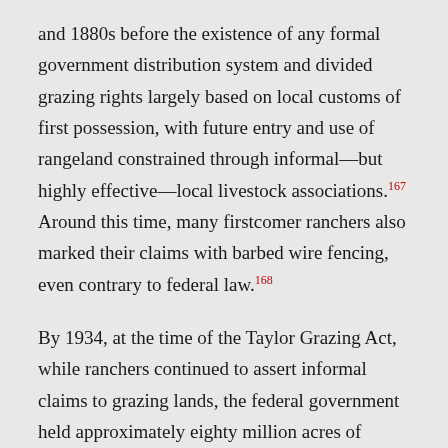and 1880s before the existence of any formal government distribution system and divided grazing rights largely based on local customs of first possession, with future entry and use of rangeland constrained through informal—but highly effective—local livestock associations.167 Around this time, many firstcomer ranchers also marked their claims with barbed wire fencing, even contrary to federal law.168
By 1934, at the time of the Taylor Grazing Act, while ranchers continued to assert informal claims to grazing lands, the federal government held approximately eighty million acres of western lands.169 Today, the Bureau of Land Management alone